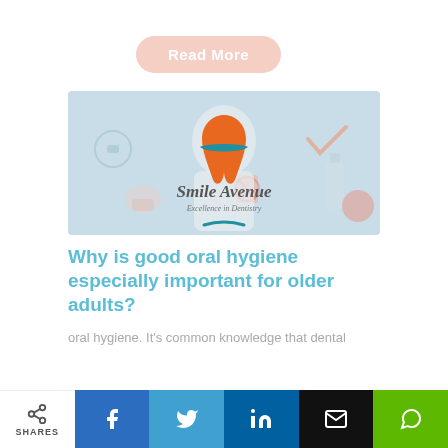Read More
[Figure (logo): Smile Avenue Excellence in Dentistry logo with orange tooth graphic, overlaid on a dental-themed illustration background with a dentist figure and dental hygiene icons]
Why is good oral hygiene especially important for older adults?
oral hygiene. It's common knowledge that dental
SHARES | Facebook | Twitter | LinkedIn | Email | WhatsApp